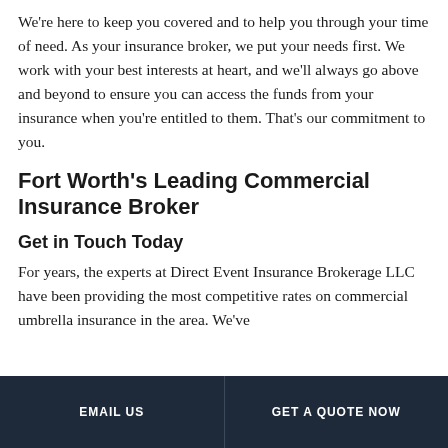We're here to keep you covered and to help you through your time of need. As your insurance broker, we put your needs first. We work with your best interests at heart, and we'll always go above and beyond to ensure you can access the funds from your insurance when you're entitled to them. That's our commitment to you.
Fort Worth's Leading Commercial Insurance Broker
Get in Touch Today
For years, the experts at Direct Event Insurance Brokerage LLC have been providing the most competitive rates on commercial umbrella insurance in the area. We've
EMAIL US | GET A QUOTE NOW